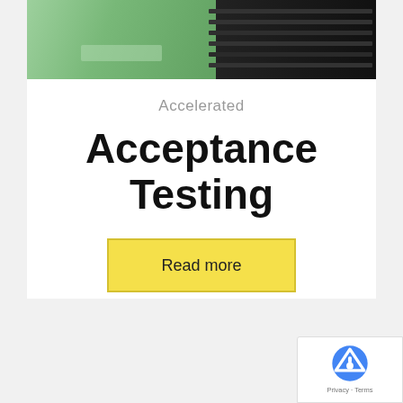[Figure (photo): Photo showing a person in a green coat working near a dark server rack, cropped at the top of the card.]
Accelerated
Acceptance Testing
Read more
[Figure (other): reCAPTCHA badge with lock icon and Privacy - Terms text]